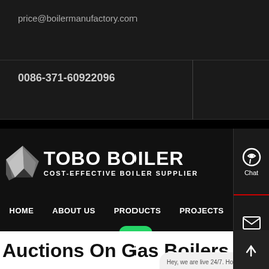price@boilermanufactory.com
0086-371-60922096
TOBO BOILER
COST-EFFECTIVE BOILER SUPPLIER
HOME
ABOUT US
PRODUCTS
PROJECTS
CONTACT US
Contact us now!
Auctions On Gas Boilers
Hey, we are live 24/7. How may I help you?